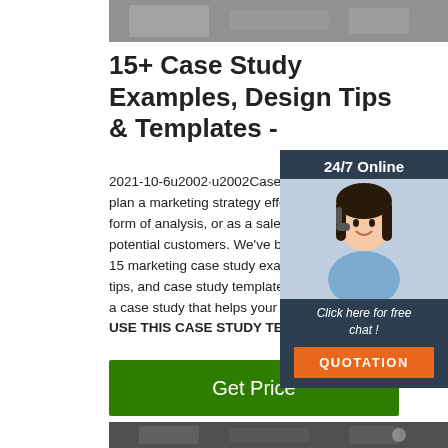[Figure (photo): Top cropped photo of industrial/mechanical equipment, partially visible at the top of the page]
15+ Case Study Examples, Design Tips & Templates -
2021-10-6u2002·u2002Case studies can plan a marketing strategy effectively, be form of analysis, or as a sales tool to ins potential customers. We've brought toge 15 marketing case study examples, case tips, and case study templates to help yo a case study that helps your marketing s USE THIS CASE STUDY TEMPLATE.
[Figure (illustration): 24/7 Online chat widget overlay showing a woman with a headset, dark blue background, orange QUOTATION button, and 'Click here for free chat!' text]
[Figure (photo): Get Price green button]
[Figure (photo): Bottom cropped photo of industrial warehouse interior with crane hook visible]